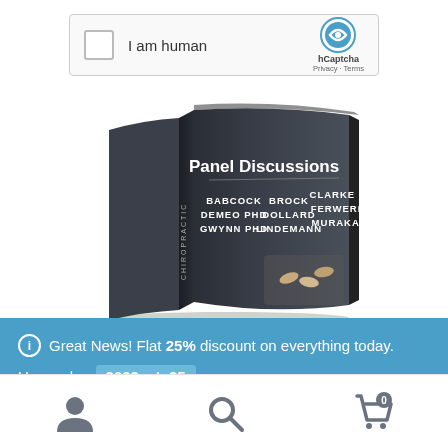[Figure (screenshot): hCaptcha widget with checkbox saying 'I am human' and hCaptcha logo with Privacy and Terms links]
[Figure (photo): 3D book cover for 'Panel Discussions' featuring authors BABCOCK, DEMEO PHD, GWYNN PHD, BROCK, DOLLARD, LINDEMANN, CLARKE DC, FERWERDA, MURAKAMI on a dark background]
Great News! Flat 25% discount on everything today. Use code: 2022estc25 Dismiss
[Figure (screenshot): Mobile website footer navigation bar with user icon, search icon, and shopping cart icon showing 0 items]